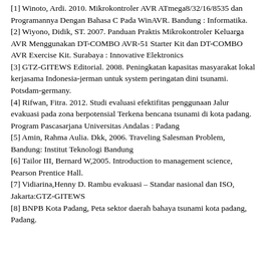[1] Winoto, Ardi. 2010. Mikrokontroler AVR ATmega8/32/16/8535 dan Programannya Dengan Bahasa C Pada WinAVR. Bandung : Informatika.
[2] Wiyono, Didik, ST. 2007. Panduan Praktis Mikrokontroler Keluarga AVR Menggunakan DT-COMBO AVR-51 Starter Kit dan DT-COMBO AVR Exercise Kit. Surabaya : Innovative Elektronics
[3] GTZ-GITEWS Editorial. 2008. Peningkatan kapasitas masyarakat lokal kerjasama Indonesia-jerman untuk system peringatan dini tsunami. Potsdam-germany.
[4] Rifwan, Fitra. 2012. Studi evaluasi efektifitas penggunaan Jalur evakuasi pada zona berpotensial Terkena bencana tsunami di kota padang. Program Pascasarjana Universitas Andalas : Padang
[5] Amin, Rahma Aulia. Dkk, 2006. Traveling Salesman Problem, Bandung: Institut Teknologi Bandung
[6] Tailor III, Bernard W,2005. Introduction to management science, Pearson Prentice Hall.
[7] Vidiarina,Henny D. Rambu evakuasi – Standar nasional dan ISO, Jakarta:GTZ-GITEWS
[8] BNPB Kota Padang, Peta sektor daerah bahaya tsunami kota padang, Padang.